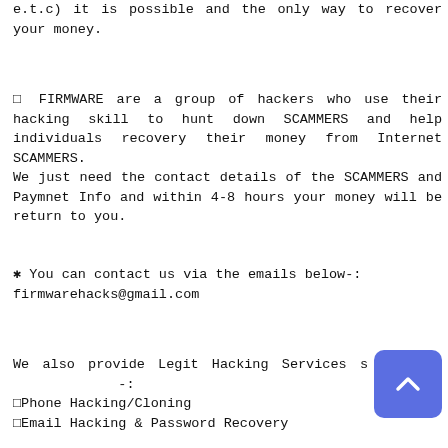e.t.c) it is possible and the only way to recover your money.
⊡ FIRMWARE are a group of hackers who use their hacking skill to hunt down SCAMMERS and help individuals recovery their money from Internet SCAMMERS.
We just need the contact details of the SCAMMERS and Paymnet Info and within 4-8 hours your money will be return to you.
✲ You can contact us via the emails below-:
firmwarehacks@gmail.com
We also provide Legit Hacking Services s…-:
⊡Phone Hacking/Cloning
⊡Email Hacking & Password Recovery